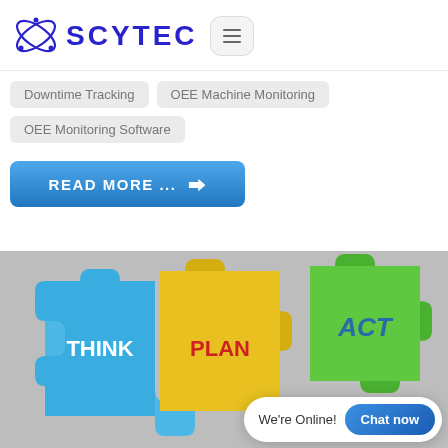[Figure (logo): Scytec logo with orbital graphic and blue text SCYTEC, plus hamburger menu button]
Downtime Tracking
OEE Machine Monitoring
OEE Monitoring Software
[Figure (other): Blue READ MORE ... button with arrow icon]
[Figure (photo): Puzzle pieces image showing colorful interlocking puzzle pieces labeled THINK (blue), PLAN (yellow with red text), and ACT (green)]
We're Online!
Chat now